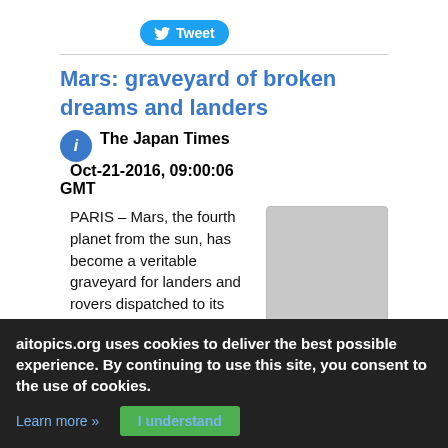[Figure (logo): Twitter Tweet button with bird icon]
Mars: graveyard of broken dreams and landers
The Japan Times   Oct-21-2016, 09:00:06 GMT
PARIS – Mars, the fourth planet from the sun, has become a veritable graveyard for landers and rovers dispatched to its surface from Earth. Only the United States has successfully operated rovers on the red planet -- four in all -- and has lost only one stationary lander. The former Soviet Union had chalked up repeated failures, while Russia's first attempt at a rover will be a joint mission
[Figure (photo): Gray placeholder image]
aitopics.org uses cookies to deliver the best possible experience. By continuing to use this site, you consent to the use of cookies.
Learn more »   I understand